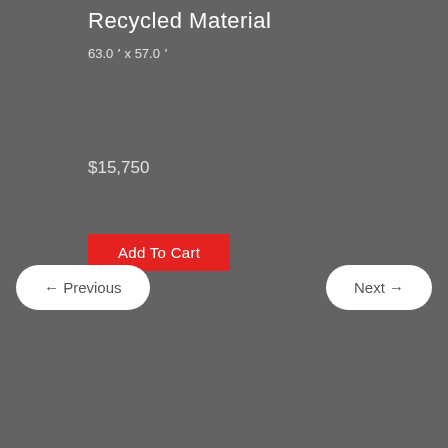Recycled Material
63.0 ' x 57.0 '
$15,750
Add To Cart
← Previous
Next →